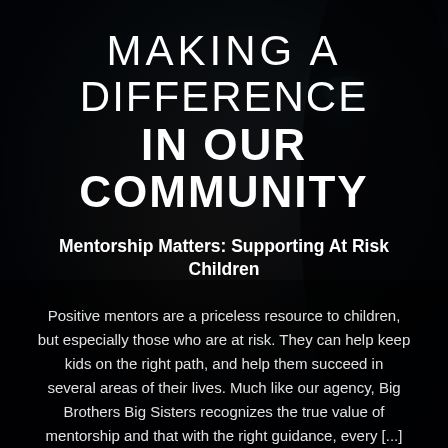[Figure (photo): Dark close-up portrait of a child/young person's face, mostly in shadow, with one eye partially visible on the right side. Monochromatic dark tones serve as background for the overlaid text.]
MAKING A DIFFERENCE IN OUR COMMUNITY
Mentorship Matters: Supporting At Risk Children
Positive mentors are a priceless resource to children, but especially those who are at risk. They can help keep kids on the right path, and help them succeed in several areas of their lives. Much like our agency, Big Brothers Big Sisters recognizes the true value of mentorship and that with the right guidance, every [...]